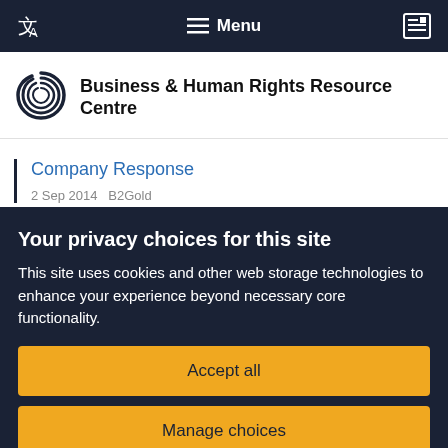Menu
Business & Human Rights Resource Centre
Company Response
2 Sep 2014   B2Gold
Your privacy choices for this site
This site uses cookies and other web storage technologies to enhance your experience beyond necessary core functionality.
Accept all
Manage choices